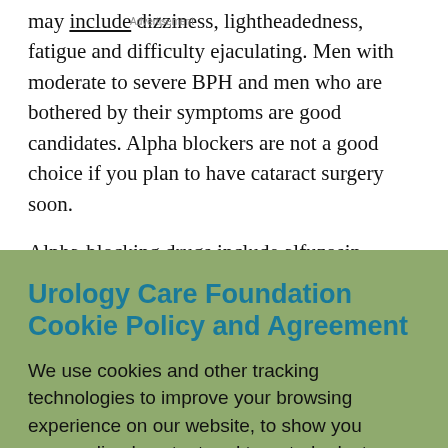may include dizziness, lightheadedness, fatigue and difficulty ejaculating. Men with moderate to severe BPH and men who are bothered by their symptoms are good candidates. Alpha blockers are not a good choice if you plan to have cataract surgery soon.
Alpha-blocking drugs include alfuzosin, doxazosin, silodosin, tamsulosin and terazosin.
5-Alpha Reducatase Inhibitors
5-alpha reductase inhibitors are pills that can increase
Urology Care Foundation Cookie Policy and Agreement
We use cookies and other tracking technologies to improve your browsing experience on our website, to show you personalized content and targeted ads, to